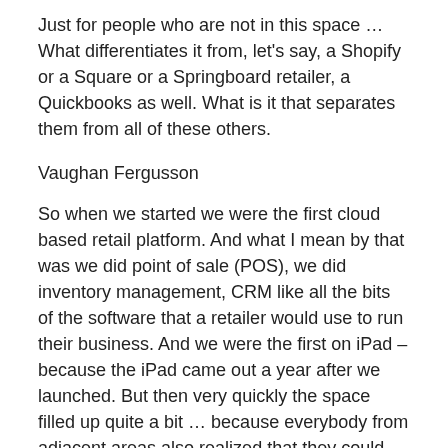Just for people who are not in this space … What differentiates it from, let's say, a Shopify or a Square or a Springboard retailer, a Quickbooks as well. What is it that separates them from all of these others.
Vaughan Fergusson
So when we started we were the first cloud based retail platform. And what I mean by that was we did point of sale (POS), we did inventory management, CRM like all the bits of the software that a retailer would use to run their business. And we were the first on iPad – because the iPad came out a year after we launched. But then very quickly the space filled up quite a bit … because everybody from adjacent areas also realized that they could build an iPad app, do POS and build some inventory features. And, and so, yeah, the thing that makes us different … I think we rode the wave of being 1st for maybe 5 years. But then you gotta come up with a new trick. You gotta come up